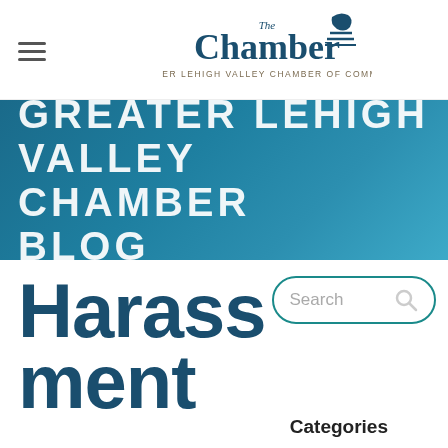The Chamber — GREATER LEHIGH VALLEY CHAMBER OF COMMERCE
GREATER LEHIGH VALLEY CHAMBER BLOG
Harassment
Search
Categories